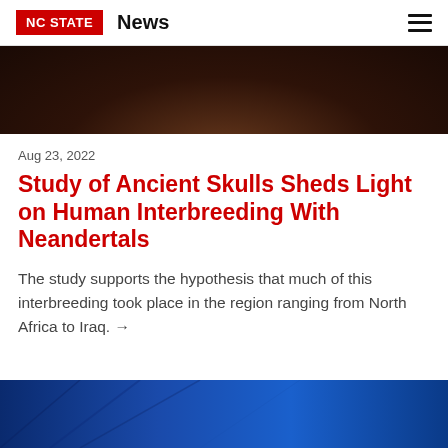NC STATE News
[Figure (photo): Partial view of a person with dark curly hair, dark background, upper torso visible — cropped top portion of image]
Aug 23, 2022
Study of Ancient Skulls Sheds Light on Human Interbreeding With Neandertals
The study supports the hypothesis that much of this interbreeding took place in the region ranging from North Africa to Iraq. →
[Figure (photo): Partial blue abstract or aerial image, cropped bottom portion]